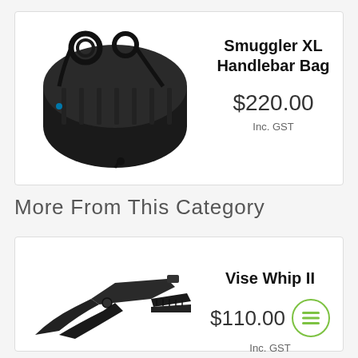[Figure (photo): Black Smuggler XL handlebar bag, cylindrical shape with mounting straps and buckles]
Smuggler XL Handlebar Bag
$220.00
Inc. GST
More From This Category
[Figure (photo): Black locking pliers / vise grip tool]
Vise Whip II
$110.00
Inc. GST